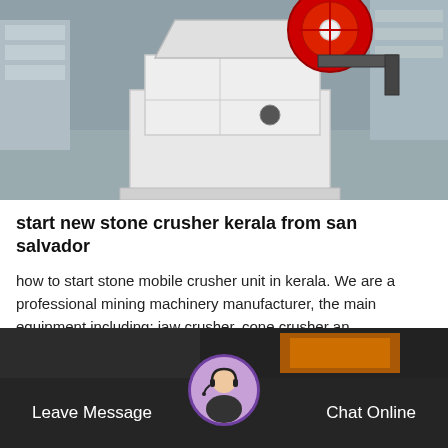[Figure (photo): Industrial jaw crusher machine, white-painted heavy steel body with large red flywheel on top, photographed in a factory/warehouse environment]
start new stone crusher kerala from san salvador
how to start stone mobile crusher unit in kerala. We are a professional mining machinery manufacturer, the main equipment including: jaw crusher, cone crusher an…
Release Time:02-22
[Figure (photo): Partial view of industrial machinery, dark background with machinery details visible]
Leave Message
Chat Online